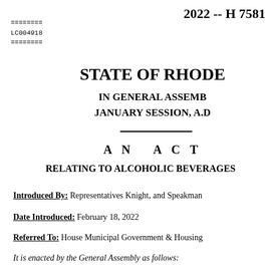2022 -- H 7581
========
LC004918
========
STATE OF RHODE
IN GENERAL ASSEMB
JANUARY SESSION, A.D
A N   A C T
RELATING TO ALCOHOLIC BEVERAGES
Introduced By: Representatives Knight, and Speakman
Date Introduced: February 18, 2022
Referred To: House Municipal Government & Housing
It is enacted by the General Assembly as follows: